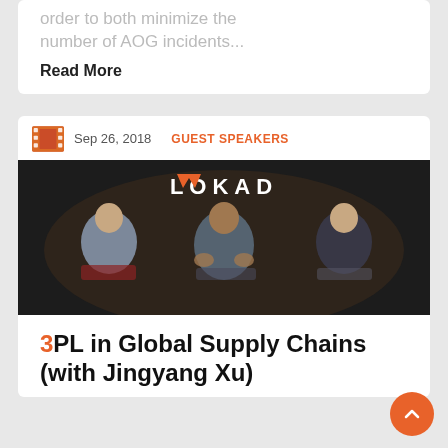order to both minimize the number of AOG incidents...
Read More
[Figure (screenshot): Lokad video thumbnail showing three people seated in conversation in front of a dark background with the Lokad logo]
3PL in Global Supply Chains (with Jingyang Xu)